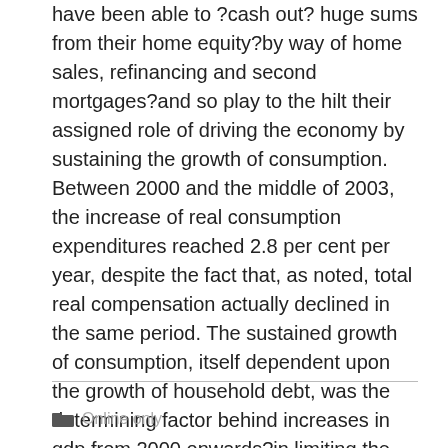have been able to ?cash out? huge sums from their home equity?by way of home sales, refinancing and second mortgages?and so play to the hilt their assigned role of driving the economy by sustaining the growth of consumption. Between 2000 and the middle of 2003, the increase of real consumption expenditures reached 2.8 per cent per year, despite the fact that, as noted, total real compensation actually declined in the same period. The sustained growth of consumption, itself dependent upon the growth of household debt, was the determining factor behind increases in gdp from 2000 onwards?in limiting the precipitous descent of the economy in 2001, in sta
Online only